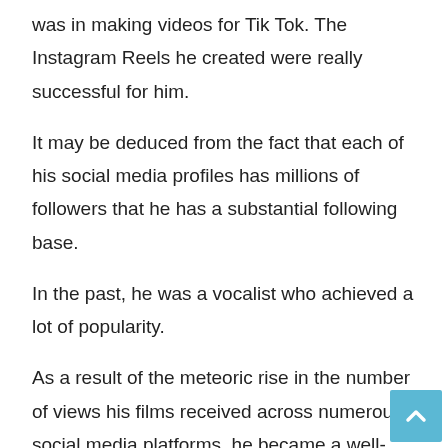was in making videos for Tik Tok. The Instagram Reels he created were really successful for him.
It may be deduced from the fact that each of his social media profiles has millions of followers that he has a substantial following base.
In the past, he was a vocalist who achieved a lot of popularity.
As a result of the meteoric rise in the number of views his films received across numerous social media platforms, he became a well-known figure.
Let's discuss his wiki and biography right here on this page